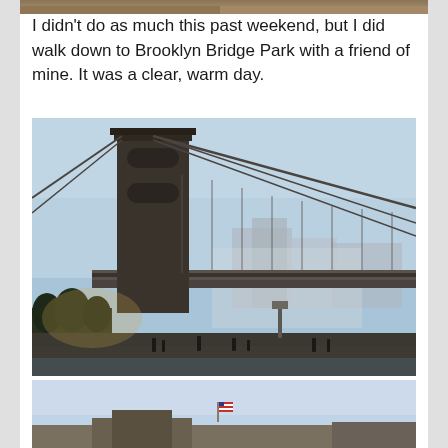[Figure (photo): Partial view of a photo strip at the top of the page showing a brownish/warm-toned image cropped at the very top edge]
I didn't do as much this past weekend, but I did walk down to Brooklyn Bridge Park with a friend of mine. It was a clear, warm day.
[Figure (photo): Photograph of the Brooklyn Bridge taken from Brooklyn Bridge Park. The bridge tower dominates the left side in silhouette. Suspension cables extend diagonally. City buildings are visible in the background with haze/mist. People can be seen along the waterfront path. Clear blue sky in the upper portion.]
[Figure (photo): Partial view of a second photograph showing a clear blue sky with a small American flag visible, and what appears to be a building or structure at the bottom of the frame, partially cut off.]